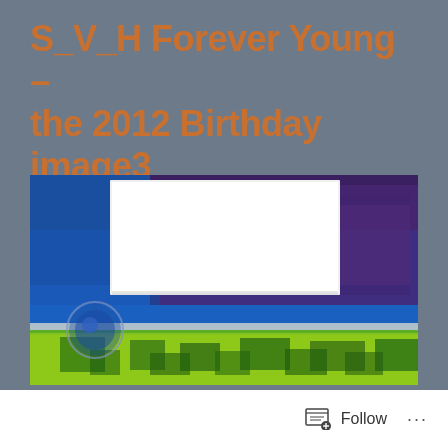S_V_H Forever Young – the 2012 Birthday image3
07/31/2012  /  SCOTT VON HOLZEN
[Figure (photo): Abstract painting with blue and purple textured background, a white rectangular canvas mounted on it, a circular blue element on the lower left, and bright green and yellow brushstroke patterns across the lower portion]
Follow  ...